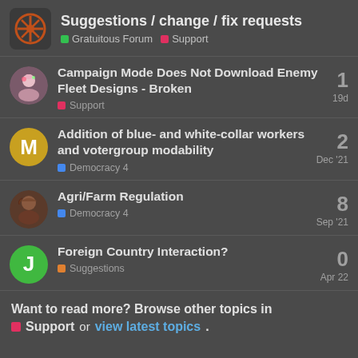Suggestions / change / fix requests — Gratuitous Forum | Support
Campaign Mode Does Not Download Enemy Fleet Designs - Broken | Support | 19d | replies: 1
Addition of blue- and white-collar workers and votergroup modability | Democracy 4 | Dec '21 | replies: 2
Agri/Farm Regulation | Democracy 4 | Sep '21 | replies: 8
Foreign Country Interaction? | Suggestions | Apr 22 | replies: 0
Want to read more? Browse other topics in Support or view latest topics.